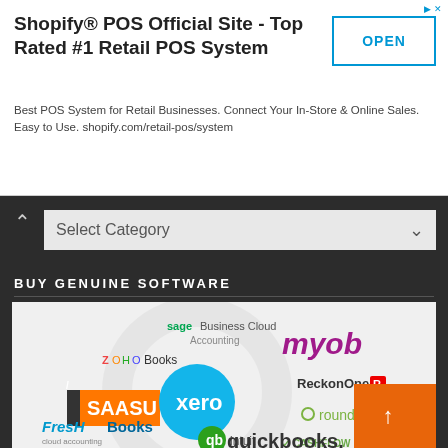[Figure (infographic): Advertisement banner for Shopify POS Official Site - Top Rated #1 Retail POS System with an OPEN button]
Shopify® POS Official Site - Top Rated #1 Retail POS System
Best POS System for Retail Businesses. Connect Your In-Store & Online Sales. Easy to Use. shopify.com/retail-pos/system
[Figure (other): Select Category dropdown with a chevron-up icon on the left and chevron-down on the right]
BUY GENUINE SOFTWARE
[Figure (logo): Collection of accounting software logos including Sage Business Cloud Accounting, MYOB, Zoho Books, Xero, ReckonOne, SAASU, rounded, CASHFLOW, FreshBooks cloud accounting, and Intuit QuickBooks]